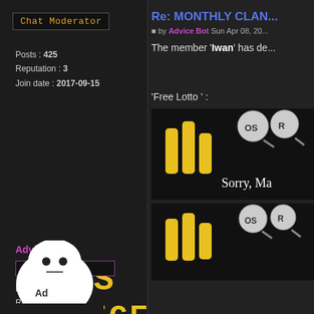[Figure (screenshot): Forum page showing two user profiles on the left and a post excerpt on the right. Left column shows a 'Chat Moderator' badge, user stats (Posts: 425, Reputation: 3, Join date: 2017-09-15), an OSRS Advice logo in yellow pixelated text, then 'Advice Bot' user with '#1 Robot' badge, stats (Posts: 10016, Reputation: 72, Join date: 2014-12-18), and a Baymax-style robot avatar. Right column shows a post titled 'Re: MONTHLY CLAN...' by Advice Bot, with a message about member 'Iwan', and two image thumbnails showing a lottery-themed graphic with 'Sorry, Ma...' text.]